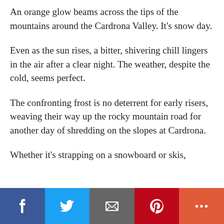An orange glow beams across the tips of the mountains around the Cardrona Valley. It’s snow day.
Even as the sun rises, a bitter, shivering chill lingers in the air after a clear night. The weather, despite the cold, seems perfect.
The confronting frost is no deterrent for early risers, weaving their way up the rocky mountain road for another day of shredding on the slopes at Cardrona.
Whether it’s strapping on a snowboard or skis,